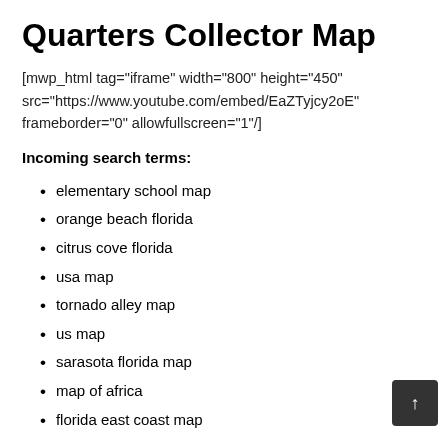Quarters Collector Map
[mwp_html tag="iframe" width="800" height="450" src="https://www.youtube.com/embed/EaZTyjcy2oE" frameborder="0" allowfullscreen="1"/]
Incoming search terms:
elementary school map
orange beach florida
citrus cove florida
usa map
tornado alley map
us map
sarasota florida map
map of africa
florida east coast map